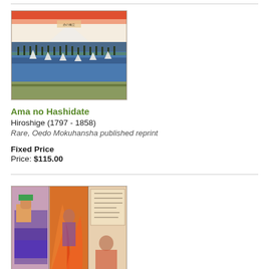[Figure (illustration): Japanese woodblock print thumbnail: Ama no Hashidate by Hiroshige. Landscape with bridge over water, trees, and Mount Fuji in background with red sky.]
Ama no Hashidate
Hiroshige (1797 - 1858)
Rare, Oedo Mokuhansha published reprint
Fixed Price
Price: $115.00
[Figure (illustration): Japanese woodblock print triptych thumbnail showing dramatic scene with figures and fire/flames, colorful costumes.]
Okawa Tomoemon Rescuing a Document from a Burning